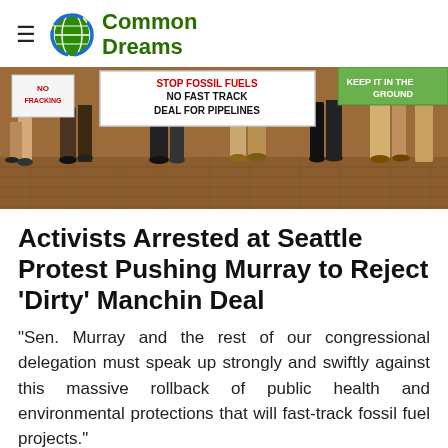Common Dreams
[Figure (photo): Protesters holding signs including 'STOP FOSSIL FUELS NO FAST TRACK DEAL FOR PIPELINES' and 'NO FRACKING' on a brick plaza]
Activists Arrested at Seattle Protest Pushing Murray to Reject 'Dirty' Manchin Deal
"Sen. Murray and the rest of our congressional delegation must speak up strongly and swiftly against this massive rollback of public health and environmental protections that will fast-track fossil fuel projects."